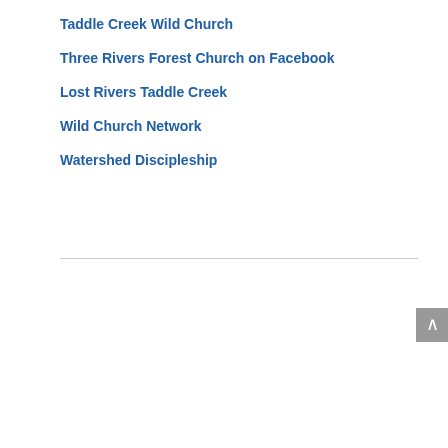Taddle Creek Wild Church
Three Rivers Forest Church on Facebook
Lost Rivers Taddle Creek
Wild Church Network
Watershed Discipleship
[Figure (illustration): Wellspring banner image featuring a water-splash bird dove graphic on a light teal background, with bold text 'wellspring', subtitle 'A DEEP DIVE INTO SPIRIT', and tagline 'Inspirational stories from around the region', with a water wave at the bottom.]